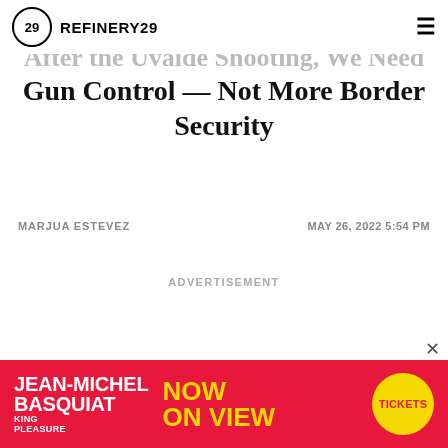REFINERY29
After the Uvalde Shooting, We Need Gun Control — Not More Border Security
MARJUA ESTEVEZ
MAY 26, 2022 5:54 PM
ADVERTISEMENT
[Figure (other): Jean-Michel Basquiat: King Pleasure exhibition advertisement banner with red background, yellow text 'NOW ON VIEW', and yellow circular Tickets button]